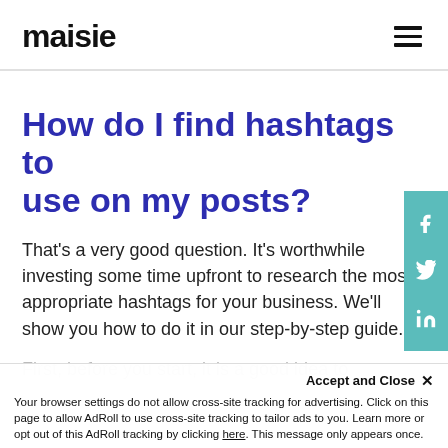maisie
How do I find hashtags to use on my posts?
That's a very good question. It's worthwhile investing some time upfront to research the most appropriate hashtags for your business. We'll show you how to do it in our step-by-step guide.
First, before you start, it is a good idea to
Your browser settings do not allow cross-site tracking for advertising. Click on this page to allow AdRoll to use cross-site tracking to tailor ads to you. Learn more or opt out of this AdRoll tracking by clicking here. This message only appears once.